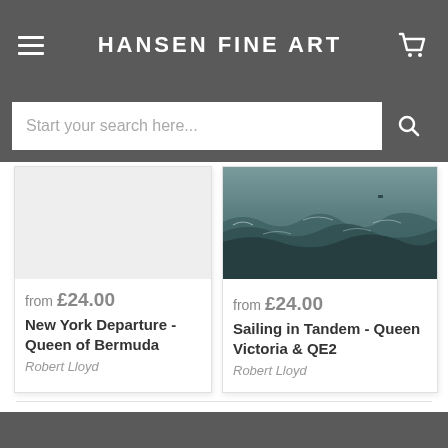HANSEN FINE ART
Start your search here...
[Figure (screenshot): Product listing card 1: artwork placeholder image (light grey), price 'from £24.00', title 'New York Departure - Queen of Bermuda', artist 'Robert Lloyd']
[Figure (photo): Product listing card 2: ocean/seascape painting photo showing dark green-grey waves, price 'from £24.00', title 'Sailing in Tandem - Queen Victoria & QE2', artist 'Robert Lloyd']